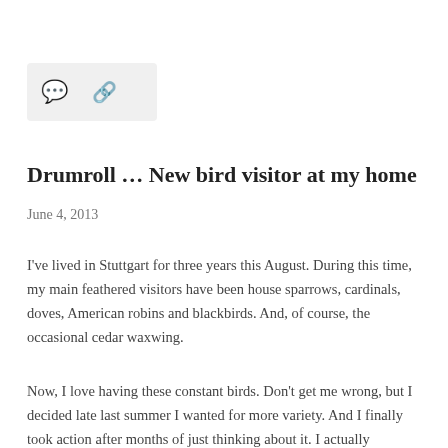[Figure (other): Icon bar with comment bubble icon and link/share icon on a light gray rounded rectangle background]
Drumroll … New bird visitor at my home
June 4, 2013
I've lived in Stuttgart for three years this August. During this time, my main feathered visitors have been house sparrows, cardinals, doves, American robins and blackbirds. And, of course, the occasional cedar waxwing.
Now, I love having these constant birds. Don't get me wrong, but I decided late last summer I wanted for more variety. And I finally took action after months of just thinking about it. I actually